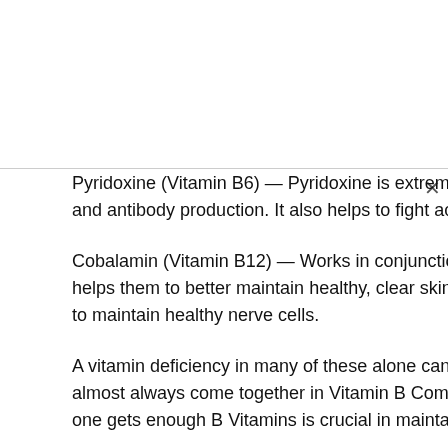Pyridoxine (Vitamin B6) — Pyridoxine is extremely important in the functioning of the immune system and antibody production. It also helps to fight acne.
Cobalamin (Vitamin B12) — Works in conjunction with other vitamins and enhances their effects and helps them to better maintain healthy, clear skin. On its own, also helps to increase energy and helps to maintain healthy nerve cells.
A vitamin deficiency in many of these alone can lead to breakouts of acne. Thankfully, these vitamins almost always come together in Vitamin B Complex's which can be purchased easily. Making sure that one gets enough B Vitamins is crucial in maintaining healthy skin and